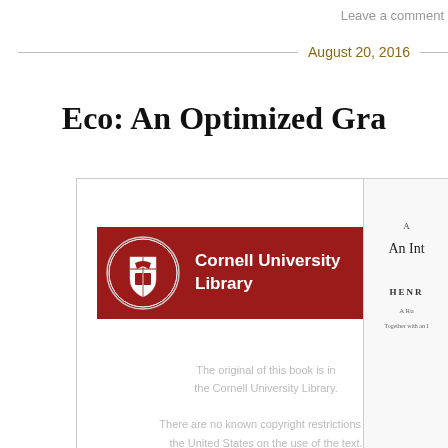Leave a comment
August 20, 2016
Eco: An Optimized Gra
[Figure (screenshot): Cornell University Library scanned book page showing the Cornell University Library red banner with seal and text, plus copyright notice stating the original is in Cornell University Library and there are no known copyright restrictions in the United States on the use of the text. Adjacent partial page showing 'An Int' title fragment with 'HENR' author name.]